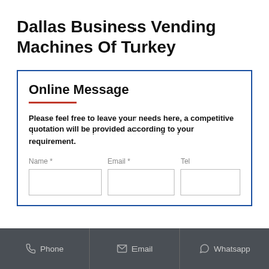Dallas Business Vending Machines Of Turkey
Online Message
Please feel free to leave your needs here, a competitive quotation will be provided according to your requirement.
Name * | Email * | Tel (form fields)
Phone | Email | Whatsapp